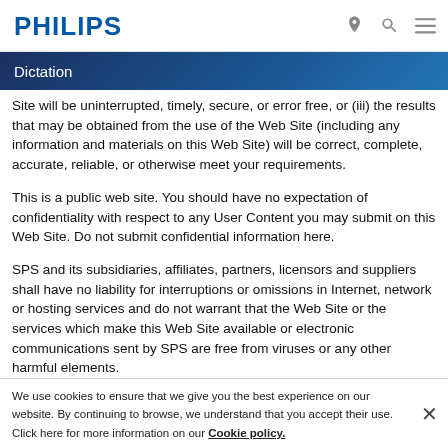PHILIPS
Dictation
Site will be uninterrupted, timely, secure, or error free, or (iii) the results that may be obtained from the use of the Web Site (including any information and materials on this Web Site) will be correct, complete, accurate, reliable, or otherwise meet your requirements.
This is a public web site. You should have no expectation of confidentiality with respect to any User Content you may submit on this Web Site. Do not submit confidential information here.
SPS and its subsidiaries, affiliates, partners, licensors and suppliers shall have no liability for interruptions or omissions in Internet, network or hosting services and do not warrant that the Web Site or the services which make this Web Site available or electronic communications sent by SPS are free from viruses or any other harmful elements.
We use cookies to ensure that we give you the best experience on our website. By continuing to browse, we understand that you accept their use. Click here for more information on our Cookie policy.